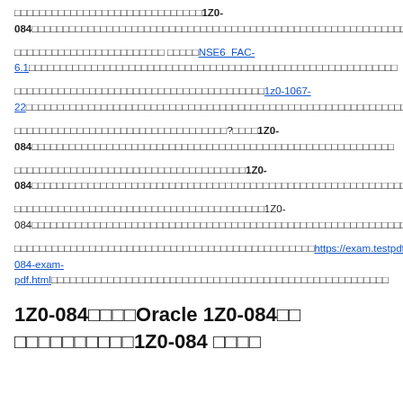□□□□□□□□□□□□□□□□□□□□□□□□□□□□□□1Z0-084□□□□□□□□□□□□□□□□□□□□□□□□□□□□□□□□□□□□□□□□□□□□□□□□□□□□□□□□□□□□□
□□□□□□□□□□□□□□□□□□□□□□□□ □□□□□NSE6_FAC-6.1□□□□□□□□□□□□□□□□□□□□□□□□□□□□□□□□□□□□□□□□□□□□□□□□□□□□□□□□□□□
□□□□□□□□□□□□□□□□□□□□□□□□□□□□□□□□□□□□□□□□1z0-1067-22□□□□□□□□□□□□□□□□□□□□□□□□□□□□□□□□□□□□□□□□□□□□□□□□□□□□□□□□□□□□□
□□□□□□□□□□□□□□□□□□□□□□□□□□□□□□□□□□?□□□□1Z0-084□□□□□□□□□□□□□□□□□□□□□□□□□□□□□□□□□□□□□□□□□□□□□□□□□□□□□□□□□□
□□□□□□□□□□□□□□□□□□□□□□□□□□□□□□□□□□□□□1Z0-084□□□□□□□□□□□□□□□□□□□□□□□□□□□□□□□□□□□□□□□□□□□□□□□□□□□□□□□□□□□□□□□□□□□□□
□□□□□□□□□□□□□□□□□□□□□□□□□□□□□□□□□□□□□□□□1Z0-084□□□□□□□□□□□□□□□□□□□□□□□□□□□□□□□□□□□□□□□□□□□□□□□□□□□□□□□□□□□□□
□□□□□□□□□□□□□□□□□□□□□□□□□□□□□□□□□□□□□□□□□□□□□□□□https://exam.testpdf.net/1Z0-084-exam-pdf.html□□□□□□□□□□□□□□□□□□□□□□□□□□□□□□□□□□□□□□□□□□□□□□□□□□□□□□
1Z0-084□□□□Oracle 1Z0-084□□□□□□□□□□□□□1Z0-084 □□□□